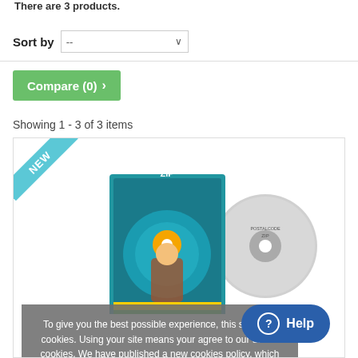There are 3 products.
Sort by --
Compare (0) >
Showing 1 - 3 of 3 items
[Figure (screenshot): Product card with 'NEW' ribbon and PostalcodeZip product image (book and CD)]
To give you the best possible experience, this site uses cookies. Using your site means your agree to our use of cookies. We have published a new cookies policy, which you should need to find out more about the cookies we use. View cookies policy
Accept
? Help